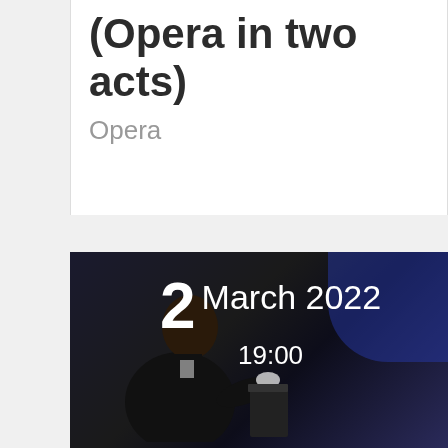(Opera in two acts)
Opera
[Figure (photo): Performer (pianist/conductor) in a black suit playing or conducting at a grand piano on a dark, blue-lit stage. Date overlay shows: 2 March 2022 19:00]